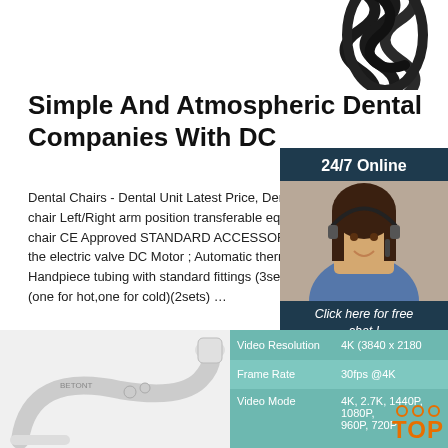[Figure (photo): Coiled black cable/tubing at top of page]
Simple And Atmospheric Dental Companies With DC
Dental Chairs - Dental Unit Latest Price, Dental Equ chair Left/Right arm position transferable equipmen chair CE Approved STANDARD ACCESSORIES: A the electric valve DC Motor ; Automatic thermostati Handpiece tubing with standard fittings (3sets) Thr (one for hot,one for cold)(2sets) …
[Figure (photo): 24/7 Online support panel with woman wearing headset, Click here for free chat text, and QUOTATION button]
[Figure (photo): Get Price orange button]
[Figure (photo): Dental microscope/equipment photo at bottom left]
|  |  |
| --- | --- |
| Video Resolution | 4K (3840 x 2180 |
| Frame Rate | 30fps @4K |
| Video Mode | 4K, 2.7K, 1440P, 1080P, 960P, 720P |
[Figure (infographic): TOP badge with orange dots and text]